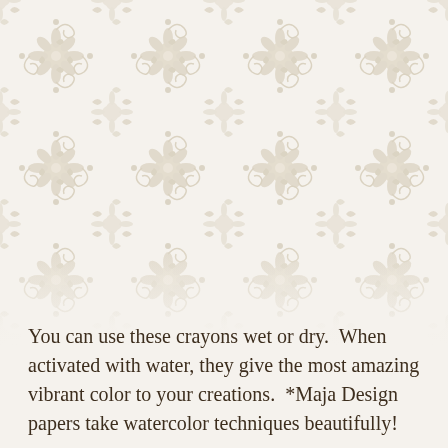[Figure (illustration): Ornate damask wallpaper pattern in pale tan/beige on cream background, repeating floral and scroll motifs covering the upper portion of the page]
You can use these crayons wet or dry.  When activated with water, they give the most amazing vibrant color to your creations.  *Maja Design papers take watercolor techniques beautifully!